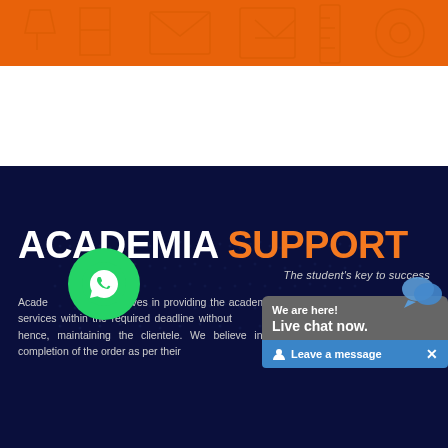[Figure (illustration): Orange banner with decorative educational/design icons in outline style]
ACADEMIA SUPPORT
The student's key to success
Academia Support believes in providing the academic writing, editing and proofreading services within the required deadline without compromising the quality of the content, hence maintaining the clientele. We believe in providing proper guidance after completion of the order as per their requirements.
[Figure (other): WhatsApp green circle icon button]
[Figure (other): Live chat widget overlay: 'We are here! Live chat now.' with Leave a message footer and X close button]